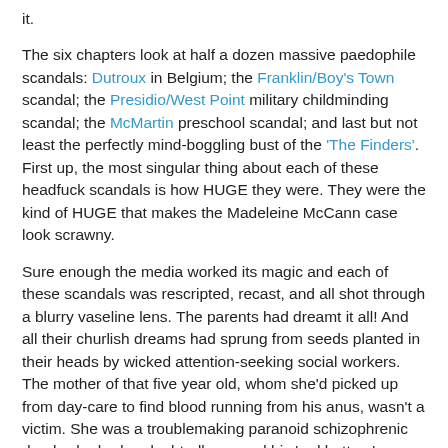it.
The six chapters look at half a dozen massive paedophile scandals: Dutroux in Belgium; the Franklin/Boy's Town scandal; the Presidio/West Point military childminding scandal; the McMartin preschool scandal; and last but not least the perfectly mind-boggling bust of the 'The Finders'. First up, the most singular thing about each of these headfuck scandals is how HUGE they were. They were the kind of HUGE that makes the Madeleine McCann case look scrawny.
Sure enough the media worked its magic and each of these scandals was rescripted, recast, and all shot through a blurry vaseline lens. The parents had dreamt it all! And all their churlish dreams had sprung from seeds planted in their heads by wicked attention-seeking social workers. The mother of that five year old, whom she'd picked up from day-care to find blood running from his anus, wasn't a victim. She was a troublemaking paranoid schizophrenic drunk who had undoubtedly caused his 'red bottom' herself. And she'd led all those other parents to imagine the abuse of their children